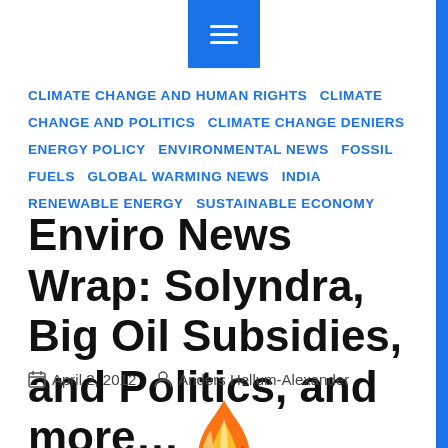CLIMATE CHANGE AND HUMAN RIGHTS  CLIMATE CHANGE AND POLITICS  CLIMATE CHANGE DENIERS  ENERGY POLICY  ENVIRONMENTAL NEWS  FOSSIL FUELS  GLOBAL WARMING NEWS  INDIA  RENEWABLE ENERGY  SUSTAINABLE ECONOMY
Enviro News Wrap: Solyndra, Big Oil Subsidies, and Politics, and more…
April 2, 2012  Anders Hellum-Alexander
[Figure (logo): Flame and globe logo illustration — fire with orange and yellow flames over a blue circular globe/ring]